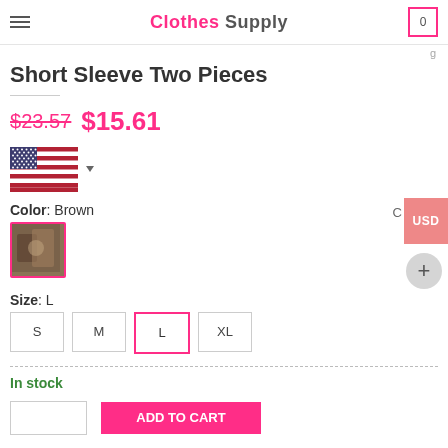Clothes Supply
Short Sleeve Two Pieces
$23.57  $15.61
[Figure (illustration): US flag icon with dropdown arrow for country/currency selection]
Color: Brown
[Figure (photo): Small brown color swatch thumbnail with pink border]
Size: L
S  M  L  XL size selector buttons, L is selected with pink border
In stock
Quantity input box and Add to Cart button